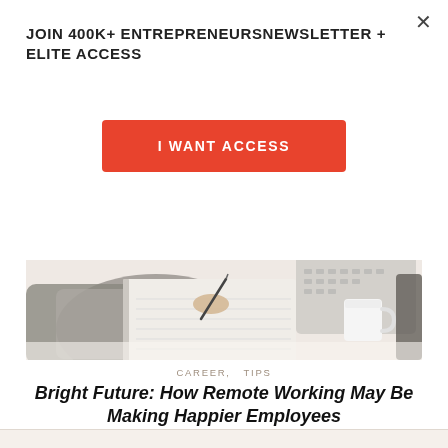JOIN 400K+ ENTREPRENEURSNEWSLETTER + ELITE ACCESS
I WANT ACCESS
[Figure (photo): Person writing in a notebook at a desk with a laptop and coffee cup nearby]
CAREER,  TIPS
Bright Future: How Remote Working May Be Making Happier Employees
JULY 21, 2022   BY  SWAGGER STAFF